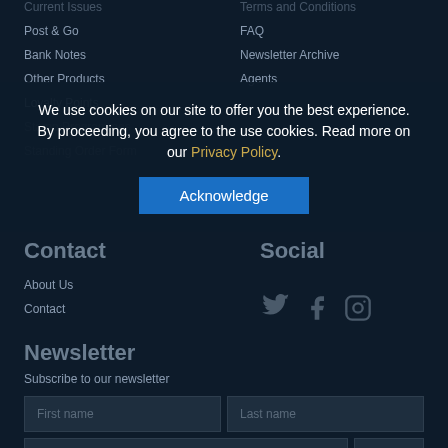Current Issues
Post & Go
Bank Notes
Other Products
Loyalty Points
Stamp Programmes
Standing Order Form
Terms and Conditions
FAQ
Newsletter Archive
Agents
We use cookies on our site to offer you the best experience. By proceeding, you agree to the use cookies. Read more on our Privacy Policy.
Acknowledge
Contact
About Us
Contact
Social
[Figure (other): Social media icons: Twitter, Facebook, Instagram]
Newsletter
Subscribe to our newsletter
First name
Last name
Your email